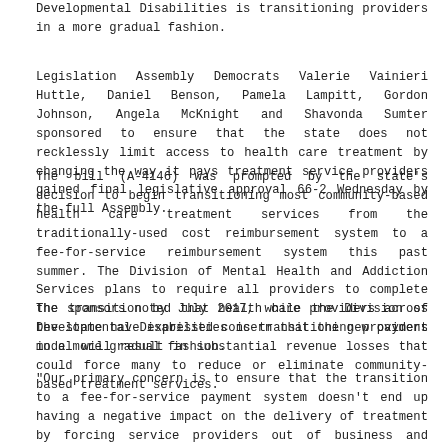Developmental Disabilities is transitioning providers in a more gradual fashion.
Legislation Assembly Democrats Valerie Vainieri Huttle, Daniel Benson, Pamela Lampitt, Gordon Johnson, Angela McKnight and Shavonda Sumter sponsored to ensure that the state does not recklessly limit access to health care treatment by changing the way it pays treatment service providers gained final legislative approval 66-2 Wednesday by the full Assembly.
The bill (A-4146) was prompted by the state's decision to begin transitioning most community-based health care treatment services from the traditionally-used cost reimbursement system to a fee-for-service reimbursement system this past summer. The Division of Mental Health and Addiction Services plans to require all providers to complete the transition by July 2017, while the Division of Developmental Disabilities is transitioning providers in a more gradual fashion.
The sponsors noted that health care providers across the state have expressed concern that the new payment model will result in substantial revenue losses that could force many to reduce or eliminate community-based treatment services.
"Our primary concern is to ensure that the transition to a fee-for-service payment system doesn't end up having a negative impact on the delivery of treatment by forcing service providers out of business and effectively limiting treatment options," said Vainieri Huttle (D-Bergen), chair of the Assembly Human Services Committee. "We need to ensure that the administration is not recklessly toying with a